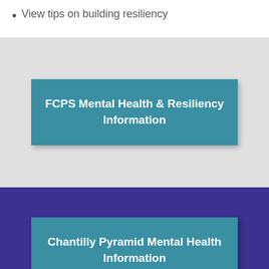View tips on building resiliency
[Figure (infographic): Gray panel with a teal button labeled 'FCPS Mental Health & Resiliency Information']
[Figure (infographic): Purple panel with a teal button labeled 'Chantilly Pyramid Mental Health Information']